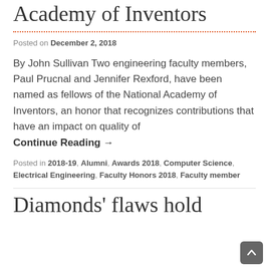Academy of Inventors
Posted on December 2, 2018
By John Sullivan Two engineering faculty members, Paul Prucnal and Jennifer Rexford, have been named as fellows of the National Academy of Inventors, an honor that recognizes contributions that have an impact on quality of
Continue Reading →
Posted in 2018-19, Alumni, Awards 2018, Computer Science, Electrical Engineering, Faculty Honors 2018, Faculty member
Diamonds' flaws hold